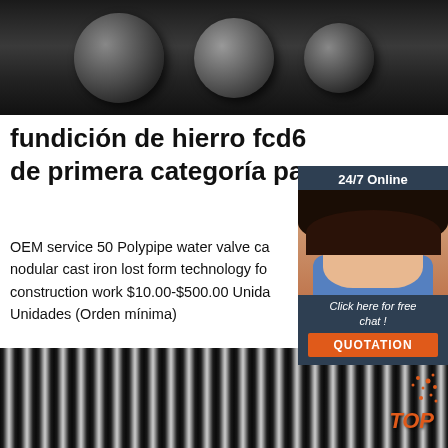[Figure (photo): Dark metal round rods/cylinders viewed from end, dark background]
fundición de hierro fcd6... de primera categoría pa...
OEM service 50 Polypipe water valve ca... nodular cast iron lost form technology fo... construction work $10.00-$500.00 Unida... Unidades (Orden mínima)
[Figure (photo): Customer service representative woman with headset, 24/7 Online chat widget with QUOTATION button]
[Figure (photo): Close-up of coiled wire rods with TOP badge overlay]
Get Price